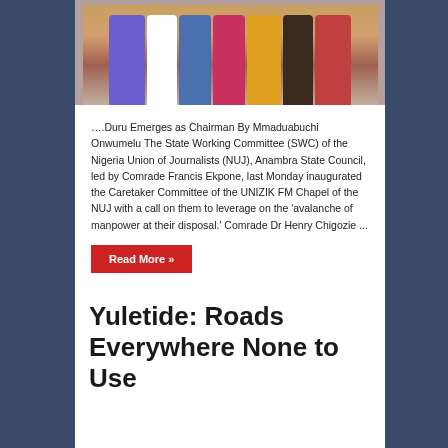[Figure (photo): Group photo of several people standing together, some in traditional Nigerian attire in purple, white, pink, yellow, and red colors]
….Duru Emerges as Chairman By Mmaduabuchi Onwumelu The State Working Committee (SWC) of the Nigeria Union of Journalists (NUJ), Anambra State Council, led by Comrade Francis Ekpone, last Monday inaugurated the Caretaker Committee of the UNIZIK FM Chapel of the NUJ with a call on them to leverage on the 'avalanche of manpower at their disposal.' Comrade Dr Henry Chigozie ...
Read More »
Yuletide: Roads Everywhere None to Use